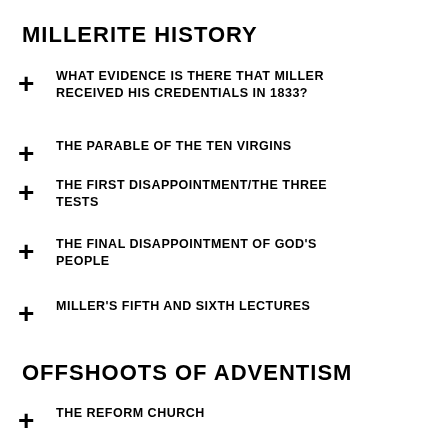MILLERITE HISTORY
WHAT EVIDENCE IS THERE THAT MILLER RECEIVED HIS CREDENTIALS IN 1833?
THE PARABLE OF THE TEN VIRGINS
THE FIRST DISAPPOINTMENT/THE THREE TESTS
THE FINAL DISAPPOINTMENT OF GOD'S PEOPLE
MILLER'S FIFTH AND SIXTH LECTURES
OFFSHOOTS OF ADVENTISM
THE REFORM CHURCH